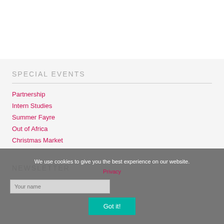SPECIAL EVENTS
Partnership
Intern Studies
Summer Fayre
Out of Africa
Christmas Market
NEWSLETTER
We use cookies to give you the best experience on our website.
Privacy
Got it!